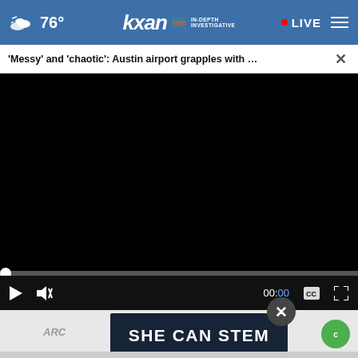76° kxan IN-DEPTH INVESTIGATIVE • LIVE
'Messy' and 'chaotic': Austin airport grapples with … ✕
[Figure (screenshot): Black video player area]
▶ 🔇 00:00 💬 ⤢
× SHE CAN STEM ARC
[Figure (other): SHE CAN STEM advertisement banner with dark blue background]